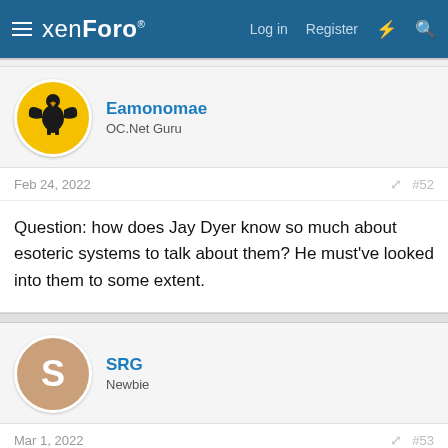xenForo — Log in | Register
Eamonomae
OC.Net Guru
Feb 24, 2022   #52
Question: how does Jay Dyer know so much about esoteric systems to talk about them? He must've looked into them to some extent.
SRG
Newbie
Mar 1, 2022   #53
Arachne said: ↗
[Figure (screenshot): Partially visible image showing text: 'Beloved, do not take part...']